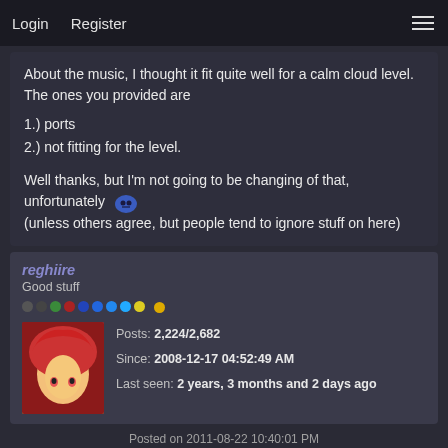Login   Register
About the music, I thought it fit quite well for a calm cloud level. The ones you provided are
1.) ports
2.) not fitting for the level.

Well thanks, but I'm not going to be changing of that, unfortunately [emoji] (unless others agree, but people tend to ignore stuff on here)
reghiire
Good stuff
Posts: 2,224/2,682
Since: 2008-12-17 04:52:49 AM
Last seen: 2 years, 3 months and 2 days ago
Posted on 2011-08-22 10:40:01 PM